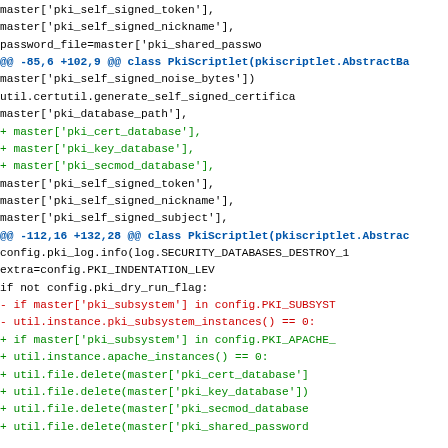Code diff showing changes to PkiScriptlet class including additions of pki_cert_database, pki_key_database, pki_secmod_database parameters and changes to subsystem instance checks